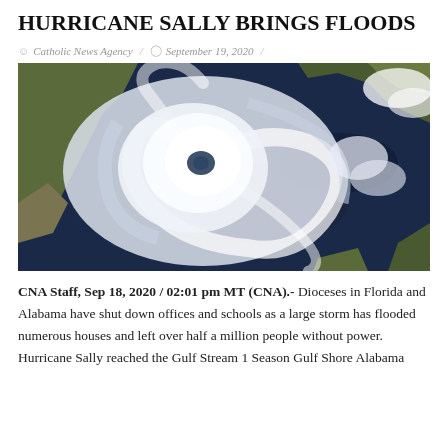HURRICANE SALLY BRINGS FLOODS
Catholic News Agency / September 19, 2020 /
[Figure (photo): Satellite image of Hurricane Sally over the Gulf of Mexico, showing the hurricane's spiral cloud bands and eye, with land visible on the edges.]
CNA Staff, Sep 18, 2020 / 02:01 pm MT (CNA).- Dioceses in Florida and Alabama have shut down offices and schools as a large storm has flooded numerous houses and left over half a million people without power. Hurricane Sally reached the Gulf Stream 1 Season Gulf Shore Alabama...